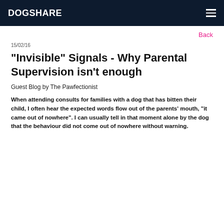DOGSHARE
Back
15/02/16
"Invisible" Signals - Why Parental Supervision isn't enough
Guest Blog by The Pawfectionist
When attending consults for families with a dog that has bitten their child, I often hear the expected words flow out of the parents' mouth, "it came out of nowhere". I can usually tell in that moment alone by the dog that the behaviour did not come out of nowhere without warning.